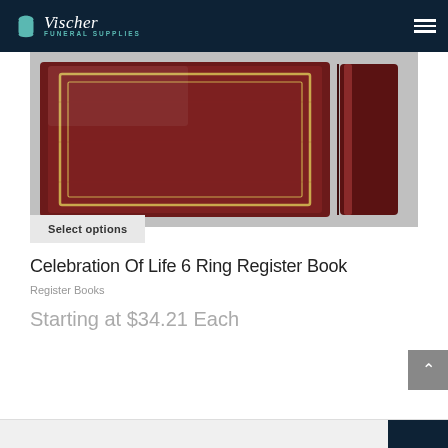Vischer Funeral Supplies
[Figure (photo): Dark mahogany colored 6-ring register book shown at an angle with gold trim border on a light grey background]
Select options
Celebration Of Life 6 Ring Register Book
Register Books
Starting at $34.21 Each